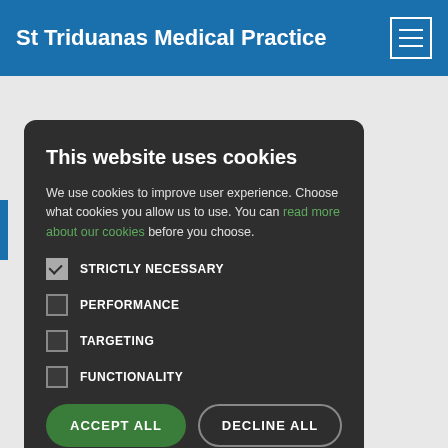St Triduanas Medical Practice
This website uses cookies
We use cookies to improve user experience. Choose what cookies you allow us to use. You can read more about our cookies before you choose.
STRICTLY NECESSARY
PERFORMANCE
TARGETING
FUNCTIONALITY
ACCEPT ALL
DECLINE ALL